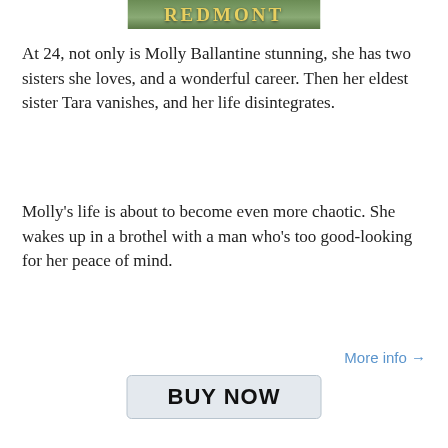[Figure (illustration): Partial book cover showing 'REDMONT' text in decorative gold letters on a green/nature background]
At 24, not only is Molly Ballantine stunning, she has two sisters she loves, and a wonderful career. Then her eldest sister Tara vanishes, and her life disintegrates.
Molly's life is about to become even more chaotic. She wakes up in a brothel with a man who's too good-looking for her peace of mind.
More info →
[Figure (other): BUY NOW button — a rounded rectangle button with bold black text on light grey background]
Escape Across Time: Tara, Molly, & Priscilla (Time Travel Regency Romance Trilogy)
[Figure (illustration): Book cover for 'Escape Across Time: Tara, Molly, & Priscilla' by Penelope Redmont, showing italic script title text and a woman's image]